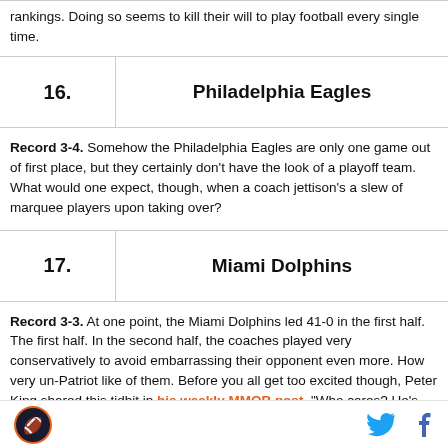rankings. Doing so seems to kill their will to play football every single time.
| 16. | Philadelphia Eagles |
| --- | --- |
Record 3-4. Somehow the Philadelphia Eagles are only one game out of first place, but they certainly don't have the look of a playoff team. What would one expect, though, when a coach jettison's a slew of marquee players upon taking over?
| 17. | Miami Dolphins |
| --- | --- |
Record 3-3. At one point, the Miami Dolphins led 41-0 in the first half. The first half. In the second half, the coaches played very conservatively to avoid embarrassing their opponent even more. How very un-Patriot like of them. Before you all get too excited though, Peter King shared this tidbit in his weekly MMQB post, "Who cares? He's beaten Tennessee and Houston